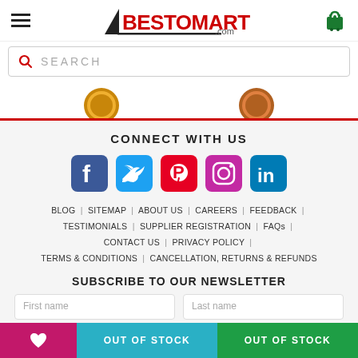[Figure (logo): BESTOMART.com logo with hamburger menu and shopping cart icon in header]
[Figure (screenshot): Search bar with magnifying glass icon and SEARCH placeholder text]
[Figure (screenshot): Badge strip with two circular badge icons and red bottom border]
CONNECT WITH US
[Figure (infographic): Social media icons: Facebook, Twitter, Pinterest, Instagram, LinkedIn]
BLOG | SITEMAP | ABOUT US | CAREERS | FEEDBACK | TESTIMONIALS | SUPPLIER REGISTRATION | FAQs | CONTACT US | PRIVACY POLICY | TERMS & CONDITIONS | CANCELLATION, RETURNS & REFUNDS
SUBSCRIBE TO OUR NEWSLETTER
First name  Last name (newsletter input fields)
OUT OF STOCK  OUT OF STOCK (bottom action buttons)